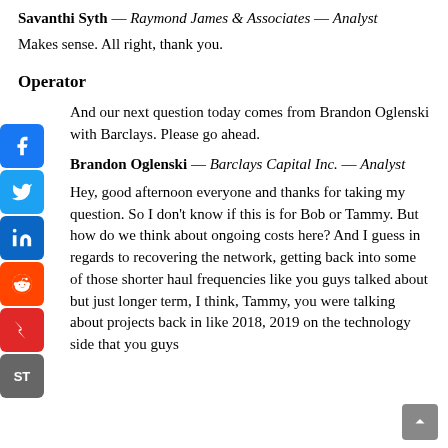Savanthi Syth — Raymond James & Associates — Analyst
Makes sense. All right, thank you.
Operator
And our next question today comes from Brandon Oglenski with Barclays. Please go ahead.
Brandon Oglenski — Barclays Capital Inc. — Analyst
Hey, good afternoon everyone and thanks for taking my question. So I don't know if this is for Bob or Tammy. But how do we think about ongoing costs here? And I guess in regards to recovering the network, getting back into some of those shorter haul frequencies like you guys talked about but just longer term, I think, Tammy, you were talking about projects back in like 2018, 2019 on the technology side that you guys